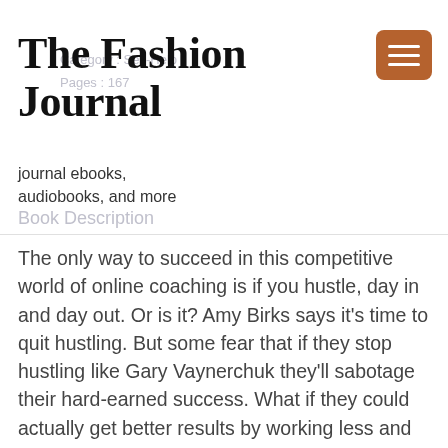Category : Self-Help | Pages : 167
The Fashion Journal
journal ebooks, audiobooks, and more
Book Description
The only way to succeed in this competitive world of online coaching is if you hustle, day in and day out. Or is it? Amy Birks says it's time to quit hustling. But some fear that if they stop hustling like Gary Vaynerchuk they'll sabotage their hard-earned success. What if they could actually get better results by working less and having more fun? The Hustle-Free Business dispels the myth that “hustle” is the only path to success. Amy Birks, The Strategy Ninja, has developed an indispensable 7-step process to help frustrated, overworked coaches generate the results they really want. No overtime